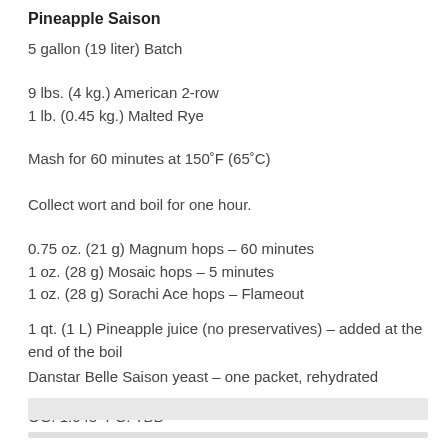Pineapple Saison
5 gallon (19 liter) Batch
9 lbs. (4 kg.) American 2-row
1 lb. (0.45 kg.) Malted Rye
Mash for 60 minutes at 150˚F (65˚C)
Collect wort and boil for one hour.
0.75 oz. (21 g) Magnum hops – 60 minutes
1 oz. (28 g) Mosaic hops – 5 minutes
1 oz. (28 g) Sorachi Ace hops – Flameout
1 qt. (1 L) Pineapple juice (no preservatives) – added at the end of the boil
Danstar Belle Saison yeast – one packet, rehydrated
OG: 1.048  FG: TBD